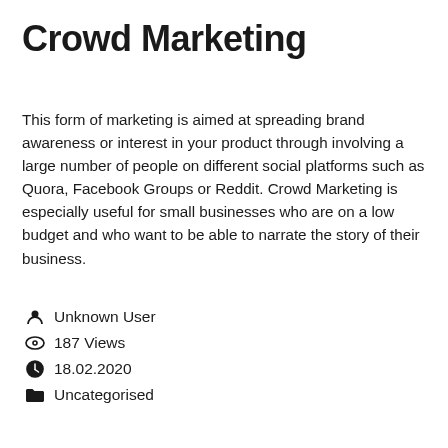Crowd Marketing
This form of marketing is aimed at spreading brand awareness or interest in your product through involving a large number of people on different social platforms such as Quora, Facebook Groups or Reddit. Crowd Marketing is especially useful for small businesses who are on a low budget and who want to be able to narrate the story of their business.
Unknown User
187 Views
18.02.2020
Uncategorised